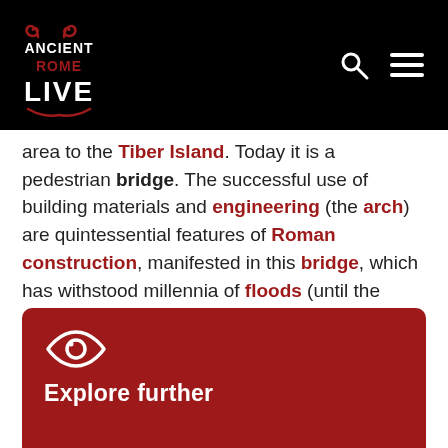Ancient Rome Live — website header with logo and navigation icons
area to the Tiber Island. Today it is a pedestrian bridge. The successful use of building materials and engineering (the arch) are quintessential features of Roman construction, manifested in this bridge, which has withstood millennia of floods (until the contraction of the 1870 flood walls).
[Figure (infographic): Dark red card with a white eye icon and 'Explore further' heading in white text on a dark red background]